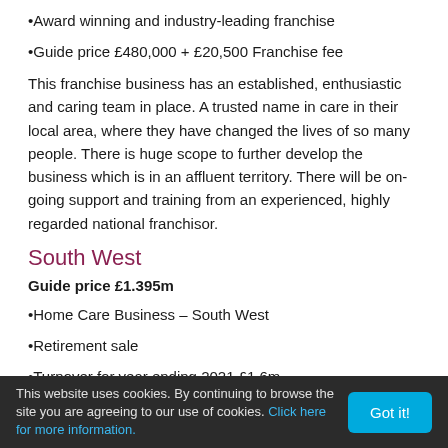Award winning and industry-leading franchise
Guide price £480,000 + £20,500 Franchise fee
This franchise business has an established, enthusiastic and caring team in place. A trusted name in care in their local area, where they have changed the lives of so many people. There is huge scope to further develop the business which is in an affluent territory. There will be on-going support and training from an experienced, highly regarded national franchisor.
South West
Guide price £1.395m
Home Care Business – South West
Retirement sale
Turnover for year ending 2021 £1.6m
Weighted average EBITDA year ending 2021 £387,000
This website uses cookies. By continuing to browse the site you are agreeing to our use of cookies. Click here for more information.